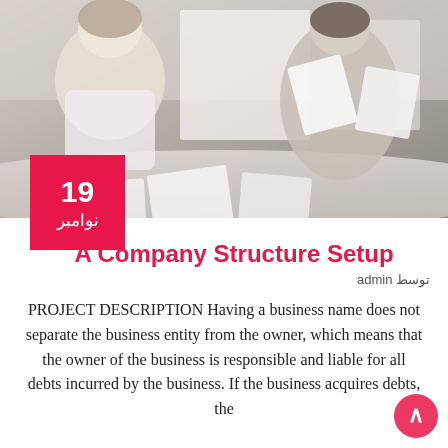[Figure (photo): Office scene with two women working at a desk, one holding papers, blurred background with office equipment]
A Company Structure Setup
توسط admin
PROJECT DESCRIPTION Having a business name does not separate the business entity from the owner, which means that the owner of the business is responsible and liable for all debts incurred by the business. If the business acquires debts, the